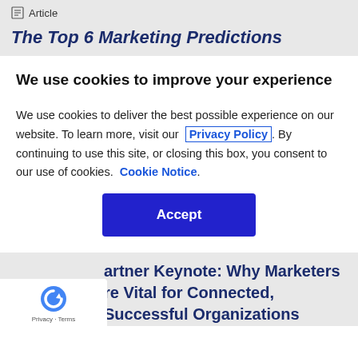Article
The Top 6 Marketing Predictions
We use cookies to improve your experience
We use cookies to deliver the best possible experience on our website. To learn more, visit our Privacy Policy. By continuing to use this site, or closing this box, you consent to our use of cookies. Cookie Notice.
Accept
artner Keynote: Why Marketers re Vital for Connected, Successful Organizations